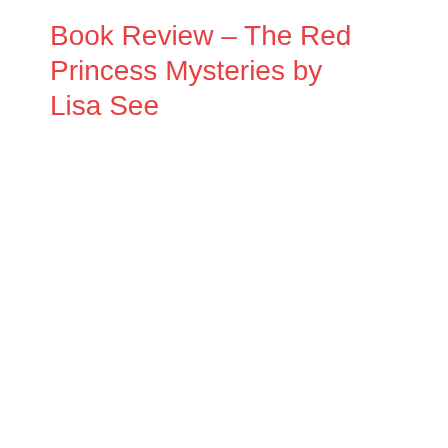Book Review – The Red Princess Mysteries by Lisa See